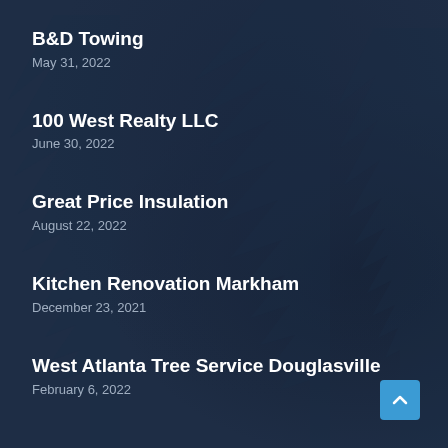B&D Towing
May 31, 2022
100 West Realty LLC
June 30, 2022
Great Price Insulation
August 22, 2022
Kitchen Renovation Markham
December 23, 2021
West Atlanta Tree Service Douglasville
February 6, 2022